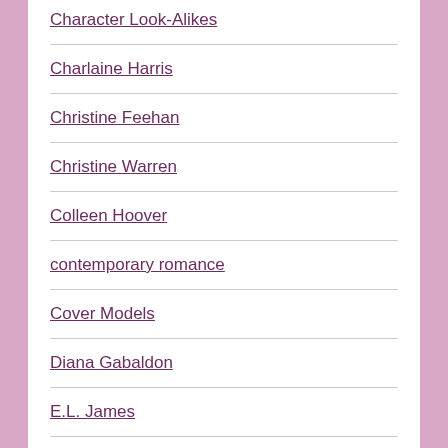Character Look-Alikes
Charlaine Harris
Christine Feehan
Christine Warren
Colleen Hoover
contemporary romance
Cover Models
Diana Gabaldon
E.L. James
eBook Deals
Editorial